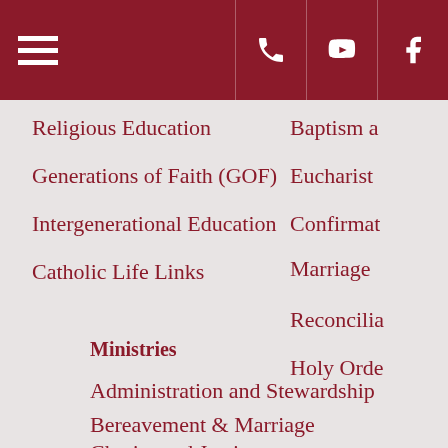Navigation header bar with hamburger menu, phone, YouTube, and Facebook icons
Religious Education
Generations of Faith (GOF)
Intergenerational Education
Catholic Life Links
Baptism a…
Eucharist
Confirmat…
Marriage
Reconcilia…
Holy Orde…
Ministries
Administration and Stewardship
Bereavement & Marriage
Charity and Justice